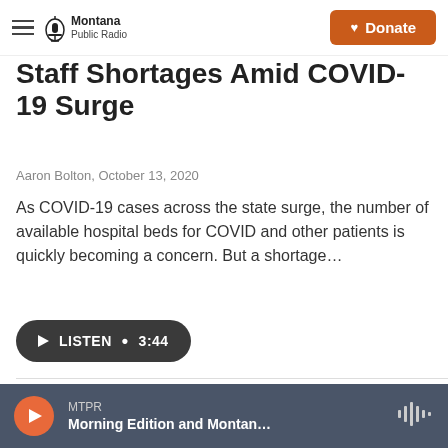Montana Public Radio | Donate
Staff Shortages Amid COVID-19 Surge
Aaron Bolton,  October 13, 2020
As COVID-19 cases across the state surge, the number of available hospital beds for COVID and other patients is quickly becoming a concern. But a shortage…
[Figure (other): Listen button with play icon, text LISTEN • 3:44]
[Figure (photo): Photo of an American flag with a thin red line stripe, in an outdoor setting]
MTPR Morning Edition and Montan...